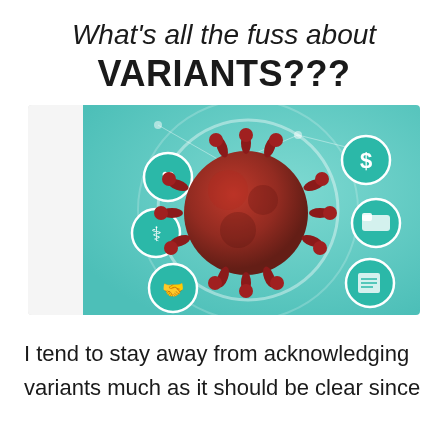What's all the fuss about VARIANTS???
[Figure (illustration): Illustration of a red coronavirus particle in the center against a teal/turquoise digital health background with medical and insurance icons (heart with cross, stethoscope, handshake, dollar sign, hospital bed, clipboard). A white fabric/cloth visible on the left side.]
I tend to stay away from acknowledging variants much as it should be clear since